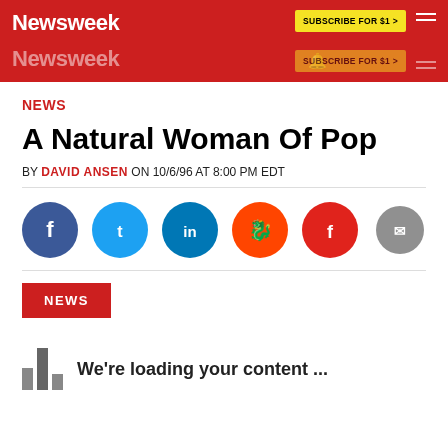Newsweek | SUBSCRIBE FOR $1 >
NEWS
A Natural Woman Of Pop
BY DAVID ANSEN ON 10/6/96 AT 8:00 PM EDT
[Figure (infographic): Social media share icons: Facebook, Twitter, LinkedIn, Reddit, Flipboard, Email, Comments]
NEWS
We're loading your content ...